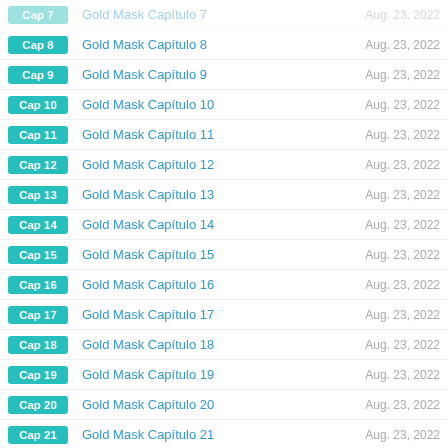Cap 7 | Gold Mask Capítulo 7 | Aug. 23, 2022
Cap 8 | Gold Mask Capítulo 8 | Aug. 23, 2022
Cap 9 | Gold Mask Capítulo 9 | Aug. 23, 2022
Cap 10 | Gold Mask Capítulo 10 | Aug. 23, 2022
Cap 11 | Gold Mask Capítulo 11 | Aug. 23, 2022
Cap 12 | Gold Mask Capítulo 12 | Aug. 23, 2022
Cap 13 | Gold Mask Capítulo 13 | Aug. 23, 2022
Cap 14 | Gold Mask Capítulo 14 | Aug. 23, 2022
Cap 15 | Gold Mask Capítulo 15 | Aug. 23, 2022
Cap 16 | Gold Mask Capítulo 16 | Aug. 23, 2022
Cap 17 | Gold Mask Capítulo 17 | Aug. 23, 2022
Cap 18 | Gold Mask Capítulo 18 | Aug. 23, 2022
Cap 19 | Gold Mask Capítulo 19 | Aug. 23, 2022
Cap 20 | Gold Mask Capítulo 20 | Aug. 23, 2022
Cap 21 | Gold Mask Capítulo 21 | Aug. 23, 2022
Cap 22 | Gold Mask Capítulo 22 | Aug. 23, 2022